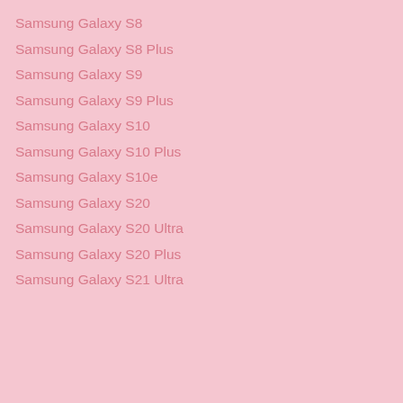Samsung Galaxy S8
Samsung Galaxy S8 Plus
Samsung Galaxy S9
Samsung Galaxy S9 Plus
Samsung Galaxy S10
Samsung Galaxy S10 Plus
Samsung Galaxy S10e
Samsung Galaxy S20
Samsung Galaxy S20 Ultra
Samsung Galaxy S20 Plus
Samsung Galaxy S21 Ultra